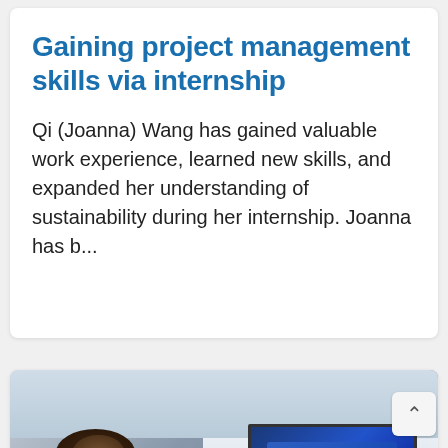Gaining project management skills via internship
Qi (Joanna) Wang has gained valuable work experience, learned new skills, and expanded her understanding of sustainability during her internship. Joanna has b...
[Figure (photo): A person with dark hair and headphones sits with their back to the camera, facing a large display screen mounted on a stand showing a blue digital image. The setting appears to be a modern office or lab space with exposed ceiling and green accent wall.]